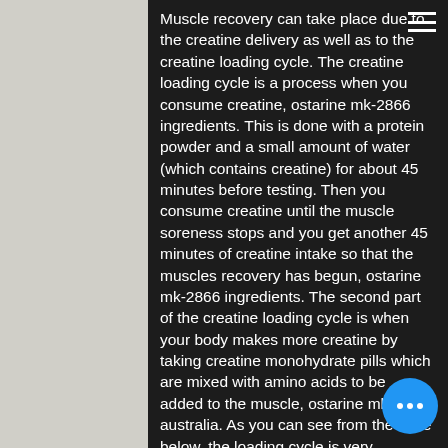Muscle recovery can take place due to the creatine delivery as well as to the creatine loading cycle. The creatine loading cycle is a process when you consume creatine, ostarine mk-2866 ingredients. This is done with a protein powder and a small amount of water (which contains creatine) for about 45 minutes before testing. Then you consume creatine until the muscle soreness stops and you get another 45 minutes of creatine intake so that the muscles recovery has begun, ostarine mk-2866 ingredients. The second part of the creatine loading cycle is when your body makes more creatine by taking creatine monohydrate pills which are mixed with amino acids to be added to the muscle, ostarine mk-2866 australia. As you can see from the table below, the loading cycle is very important for maximizing the effects of SARM as its effects do not fully occur until around 2-4 hours after